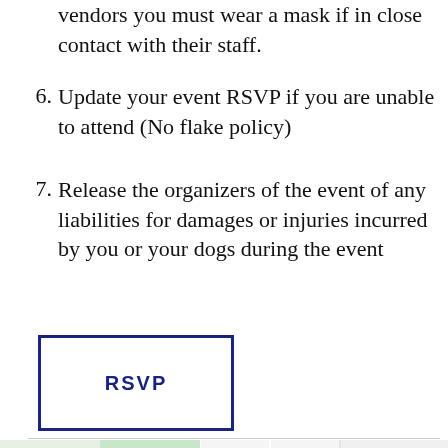vendors you must wear a mask if in close contact with their staff.
6. Update your event RSVP if you are unable to attend (No flake policy)
7. Release the organizers of the event of any liabilities for damages or injuries incurred by you or your dogs during the event
[Figure (other): RSVP button — a rectangular button with blue border and blue bold text 'RSVP' centered inside]
[Figure (map): Google Maps screenshot showing Creek Park, MB360 Apartments, and Mariposa Hunters Point Yacht Club area]